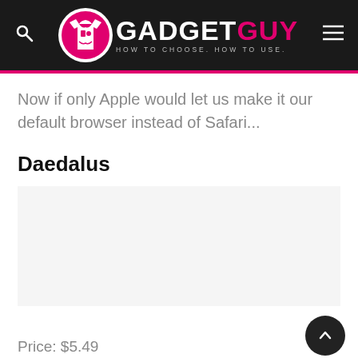GADGETGUY — HOW TO CHOOSE. HOW TO USE.
Now if only Apple would let us make it our default browser instead of Safari...
Daedalus
[Figure (photo): Image placeholder area for Daedalus app screenshot]
Price: $5.49